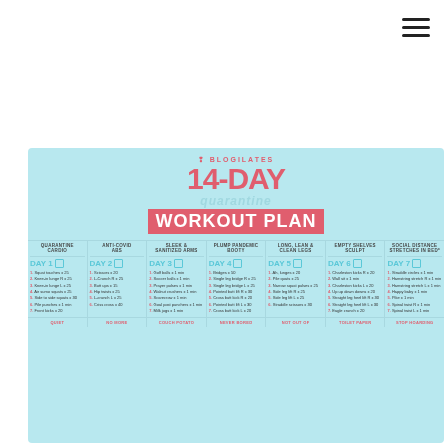[Figure (infographic): Blogilates 14-Day Quarantine Workout Plan infographic with 7-column daily workout grid on light blue background with toilet paper and face mask decorative elements]
BLOGILATES 14-DAY quarantine WORKOUT PLAN
| QUARANTINE CARDIO | ANTI-COVID ABS | SLEEK & SANITIZED ARMS | PLUMP PANDEMIC BOOTY | LONG, LEAN & CLEAN LEGS | EMPTY SHELVES SCULPT | SOCIAL DISTANCE STRETCHES IN BED* |
| --- | --- | --- | --- | --- | --- | --- |
| DAY 1 | DAY 2 | DAY 3 | DAY 4 | DAY 5 | DAY 6 | DAY 7 |
| 1. Squat touches x 25
2. Knee-in lunge R x 25
3. Knee-in lunge L x 25
4. Air sumo squats x 25
5. Side to side squats x 30
6. Pile punches x 1 min
7. Front kicks x 20 | 1. Scissors x 20
2. L-Crunch R x 25
3. Butt ups x 15
4. Hip twists x 25
5. L-crunch L x 25
6. Criss cross x 40 | 1. Golf balls x 1 min
2. Soccer balls x 1 min
3. Prayer pulses x 1 min
4. Walnut crushers x 1 min
5. Scarecrow x 1 min
6. Goal post punchers x 1 min
7. Milk jugs x 1 min | 1. Bridges x 50
2. Single leg bridge R x 25
3. Single leg bridge L x 25
4. Pointed butt lift R x 30
5. Cross butt kick R x 20
6. Pointed butt lift L x 30
7. Cross butt kick L x 20 | 1. Ah, lunges x 20
2. Pile quats x 25
3. Narrow squat pulses x 25
4. Side leg lift R x 25
5. Side leg lift L x 25
6. Straddle scissors x 30 | 1. Charleston kicks R x 20
2. Wall sit x 1 min
3. Charleston kicks L x 20
4. Up up down downs x 20
5. Straight leg heel lift R x 30
6. Straight leg heel lift L x 30
7. Eagle crunch x 20 | 1. Straddle circles x 1 min
2. Hamstring stretch R x 1 min
3. Hamstring stretch L x 1 min
4. Happy baby x 1 min
5. Pike x 1 min
6. Spinal twist R x 1 min
7. Spinal twist L x 1 min |
| QUIET | NO MORE | COUCH POTATO | NEVER BORED | NOT OUT OF | TOILET PAPER | STOP HOARDING |